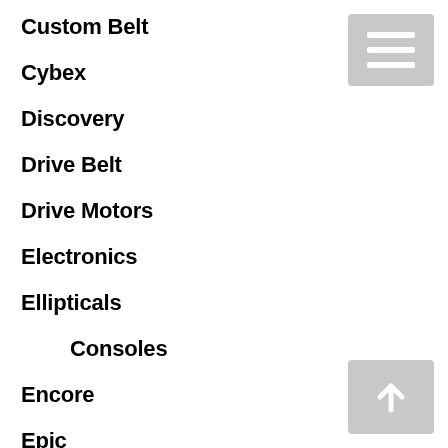Custom Belt
Cybex
Discovery
Drive Belt
Drive Motors
Electronics
Ellipticals
Consoles
Encore
Epic
EverYoung
Fitness Gear
FreeMotion